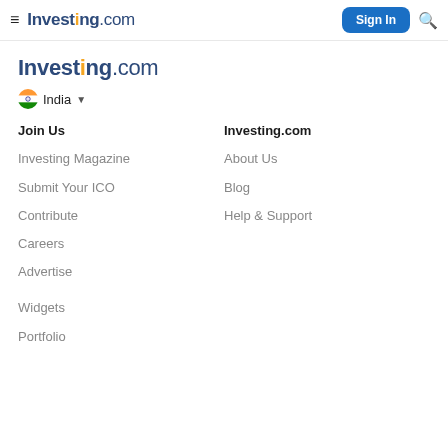Investing.com | Sign In
Investing.com
India ▾
Join Us
Investing Magazine
Submit Your ICO
Contribute
Careers
Advertise
Widgets
Portfolio
Investing.com
About Us
Blog
Help & Support